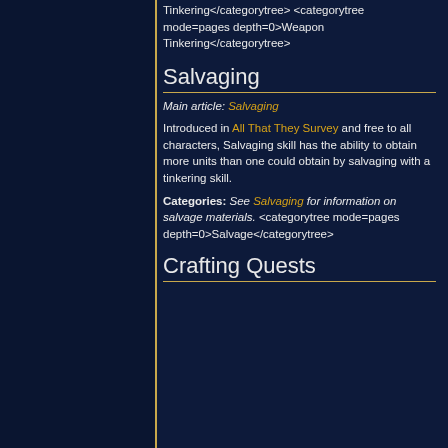Tinkering</categorytree> <categorytree mode=pages depth=0>Weapon Tinkering</categorytree>
Salvaging
Main article: Salvaging
Introduced in All That They Survey and free to all characters, Salvaging skill has the ability to obtain more units than one could obtain by salvaging with a tinkering skill.
Categories: See Salvaging for information on salvage materials. <categorytree mode=pages depth=0>Salvage</categorytree>
Crafting Quests